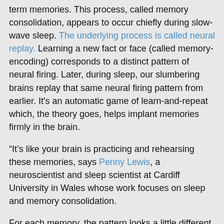term memories. This process, called memory consolidation, appears to occur chiefly during slow-wave sleep. The underlying process is called neural replay. Learning a new fact or face (called memory-encoding) corresponds to a distinct pattern of neural firing. Later, during sleep, our slumbering brains replay that same neural firing pattern from earlier. It's an automatic game of learn-and-repeat which, the theory goes, helps implant memories firmly in the brain.
“It’s like your brain is practicing and rehearsing these memories, says Penny Lewis, a neuroscientist and sleep scientist at Cardiff University in Wales whose work focuses on sleep and memory consolidation.
For each memory, the pattern looks a little different. But these webs overlap. “Every piece of knowledge that you have is related to other things,” adds Antony. So when our sleeping brain replays memories, it doesn’t